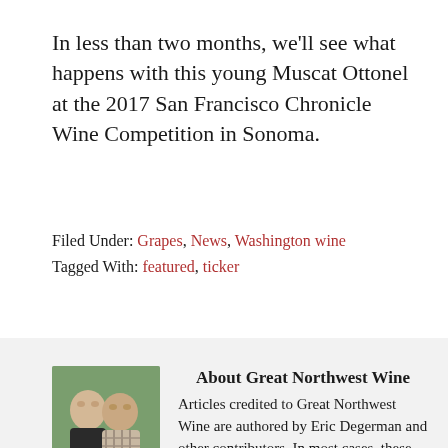In less than two months, we'll see what happens with this young Muscat Ottonel at the 2017 San Francisco Chronicle Wine Competition in Sonoma.
Filed Under: Grapes, News, Washington wine
Tagged With: featured, ticker
About Great Northwest Wine
Articles credited to Great Northwest Wine are authored by Eric Degerman and other contributors. In most cases, these are wine reviews that are judged blind by the Great Northwest
[Figure (photo): Two men posing together outdoors, one wearing a dark jacket and the other wearing a checkered shirt]